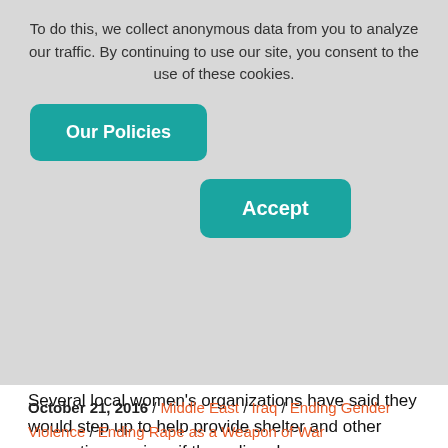To do this, we collect anonymous data from you to analyze our traffic. By continuing to use our site, you consent to the use of these cookies.
Our Policies
Accept
Several local women’s organizations have said they would step up to help provide shelter and other supportive services if the policy changes.
Local activists know that changing the anti-shelter policy, in this time of massive humanitarian crisis, will broaden the safety net for people fleeing all forms of violence. And it can’t come a moment too soon for the people of Mosul.
October 21, 2016 / Middle East / Iraq / Ending Gender Violence / Ending Rape as a Weapon of War